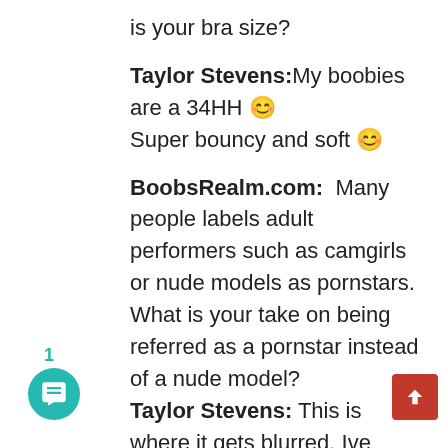is your bra size?
Taylor Stevens: My boobies are a 34HH 😊 Super bouncy and soft 😊
BoobsRealm.com: Many people labels adult performers such as camgirls or nude models as pornstars. What is your take on being referred as a pornstar instead of a nude model? Taylor Stevens: This is where it gets blurred. Ive been labeled a pornstar and I have ZERO issue with it I do solo porn not just on webcam but for a Major Porn production company so its ok to call ME that. Although I would rather give much more credit to the girls who do Hardcore Porn or girl girl porn and are real stars of porn. Some cam girls dont like the reference and its